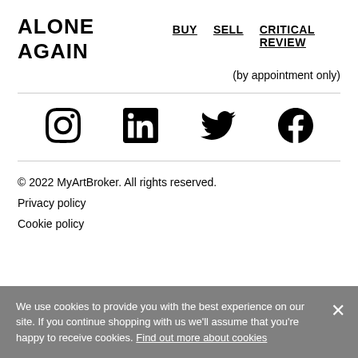ALONE AGAIN  BUY  SELL  CRITICAL REVIEW
(by appointment only)
[Figure (other): Social media icons row: Instagram, LinkedIn, Twitter, Facebook]
© 2022 MyArtBroker. All rights reserved.
Privacy policy
Cookie policy
We use cookies to provide you with the best experience on our site. If you continue shopping with us we'll assume that you're happy to receive cookies. Find out more about cookies